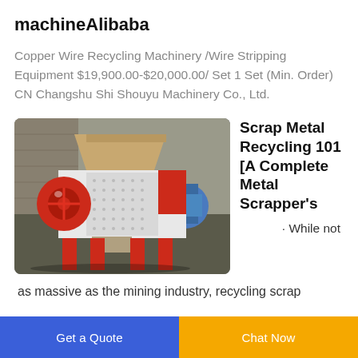machineAlibaba
Copper Wire Recycling Machinery /Wire Stripping Equipment $19,900.00-$20,000.00/ Set 1 Set (Min. Order) CN Changshu Shi Shouyu Machinery Co., Ltd.
[Figure (photo): Industrial red and white scrap metal shredder/recycling machine in a factory setting, with additional industrial equipment visible in the background.]
Scrap Metal Recycling 101 [A Complete Metal Scrapper's
· While not as massive as the mining industry, recycling scrap
Get a Quote    Chat Now